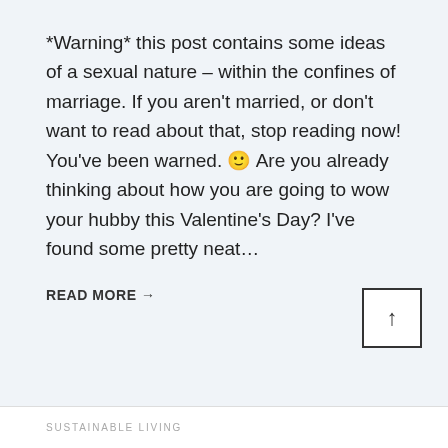*Warning* this post contains some ideas of a sexual nature – within the confines of marriage. If you aren't married, or don't want to read about that, stop reading now! You've been warned. 🙂 Are you already thinking about how you are going to wow your hubby this Valentine's Day? I've found some pretty neat…
READ MORE →
SUSTAINABLE LIVING